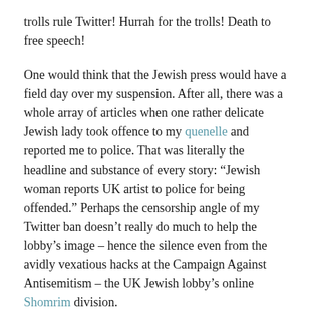trolls rule Twitter! Hurrah for the trolls! Death to free speech!
One would think that the Jewish press would have a field day over my suspension. After all, there was a whole array of articles when one rather delicate Jewish lady took offence to my quenelle and reported me to police. That was literally the headline and substance of every story: “Jewish woman reports UK artist to police for being offended.” Perhaps the censorship angle of my Twitter ban doesn’t really do much to help the lobby’s image – hence the silence even from the avidly vexatious hacks at the Campaign Against Antisemitism – the UK Jewish lobby’s online Shomrim division.
*